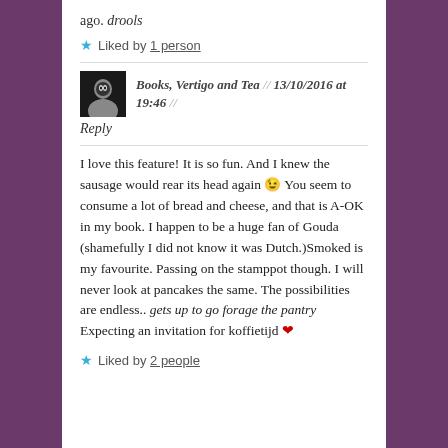ago. drools
★ Liked by 1 person
Books, Vertigo and Tea // 13/10/2016 at 19:46 //
Reply
I love this feature! It is so fun. And I knew the sausage would rear its head again 😉 You seem to consume a lot of bread and cheese, and that is A-OK in my book. I happen to be a huge fan of Gouda (shamefully I did not know it was Dutch.)Smoked is my favourite. Passing on the stamppot though. I will never look at pancakes the same. The possibilities are endless.. gets up to go forage the pantry Expecting an invitation for koffietijd ❤
★ Liked by 2 people